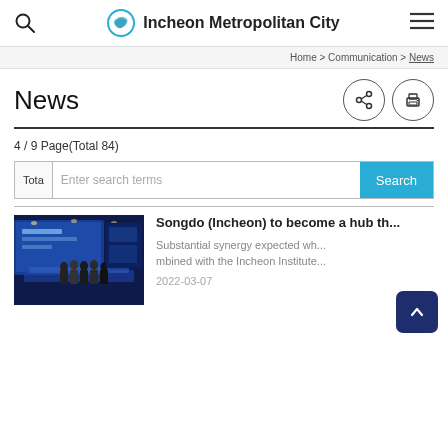Incheon Metropolitan City
Home > Communication > News
News
4 / 9 Page(Total 84)
Enter search terms
Songdo (Incheon) to become a hub th...
Substantial synergy expected wh... mbined with the Incheon Institute...
2022-03-07